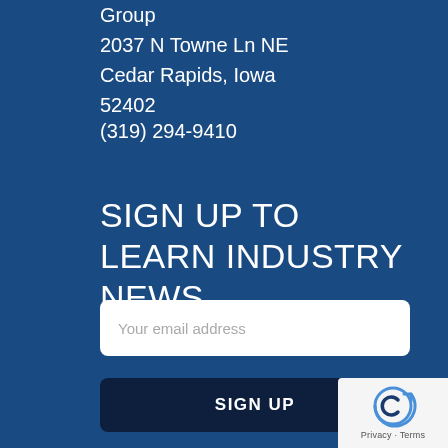Group
2037 N Towne Ln NE
Cedar Rapids, Iowa
52402
(319) 294-9410
SIGN UP TO LEARN INDUSTRY NEWS
Your email address
SIGN UP
[Figure (logo): reCAPTCHA logo with text Privacy - Terms]